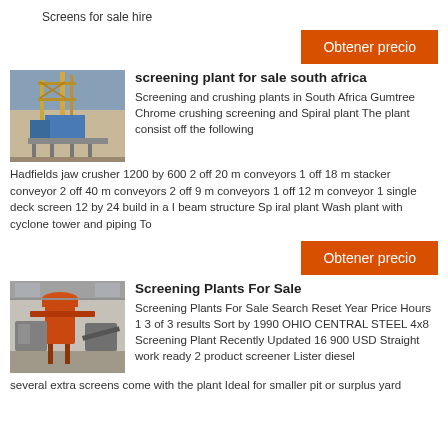Screens for sale hire
[Figure (other): Orange 'Obtener precio' button]
[Figure (photo): Industrial screening and crushing plant on elevated steel structure]
screening plant for sale south africa
Screening and crushing plants in South Africa Gumtree Chrome crushing screening and Spiral plant The plant consist off the following Hadfields jaw crusher 1200 by 600 2 off 20 m conveyors 1 off 18 m stacker conveyor 2 off 40 m conveyors 2 off 9 m conveyors 1 off 12 m conveyor 1 single deck screen 12 by 24 build in a I beam structure Sp iral plant Wash plant with cyclone tower and piping To
[Figure (other): Orange 'Obtener precio' button]
[Figure (photo): Industrial screening plant with orange/red machinery in warehouse setting]
Screening Plants For Sale
Screening Plants For Sale Search Reset Year Price Hours 1 3 of 3 results Sort by 1990 OHIO CENTRAL STEEL 4x8 Screening Plant Recently Updated 16 900 USD Straight work ready 2 product screener Lister diesel several extra screens come with the plant Ideal for smaller pit or surplus yard